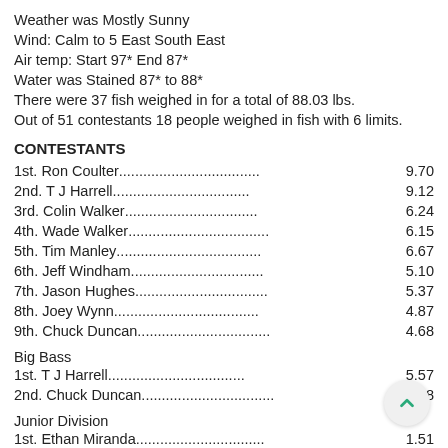Weather was Mostly Sunny
Wind: Calm to 5 East South East
Air temp: Start 97* End 87*
Water was Stained 87* to 88*
There were 37 fish weighed in for a total of 88.03 lbs.
Out of 51 contestants 18 people weighed in fish with 6 limits.
CONTESTANTS
1st. Ron Coulter...........9.70
2nd. T J Harrell...........9.12
3rd. Colin Walker...........6.24
4th. Wade Walker...........6.15
5th. Tim Manley...........6.67
6th. Jeff Windham...........5.10
7th. Jason Hughes...........5.37
8th. Joey Wynn...........4.87
9th. Chuck Duncan...........4.68
Big Bass
1st. T J Harrell...........5.57
2nd. Chuck Duncan...........4.68
Junior Division
1st. Ethan Miranda...........1.51
2nd. Hunter Bible...........1.35
3rd. Ryco Walker.Reese Walker.Austin Irvine